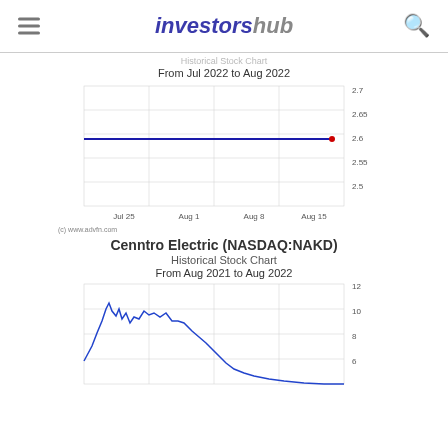investorshub
Historical Stock Chart
From Jul 2022 to Aug 2022
[Figure (line-chart): Historical Stock Chart From Jul 2022 to Aug 2022]
(c) www.advfn.com
Cenntro Electric (NASDAQ:NAKD)
Historical Stock Chart
From Aug 2021 to Aug 2022
[Figure (line-chart): Line chart showing Cenntro Electric stock price from Aug 2021 to Aug 2022, with a peak around 12 in late 2021 and declining to around 2 by Aug 2022]